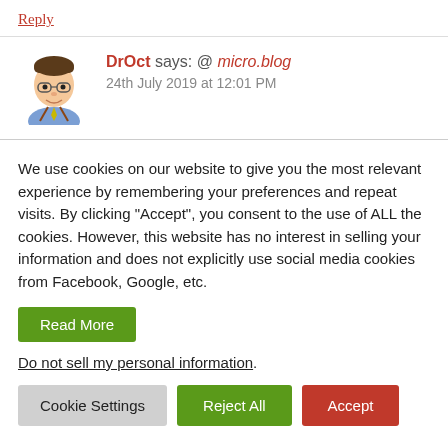Reply
[Figure (illustration): Cartoon avatar of a man with glasses, blue shirt, yellow tie and brown suspenders]
DrOct says: @ micro.blog
24th July 2019 at 12:01 PM
We use cookies on our website to give you the most relevant experience by remembering your preferences and repeat visits. By clicking "Accept", you consent to the use of ALL the cookies. However, this website has no interest in selling your information and does not explicitly use social media cookies from Facebook, Google, etc.
Read More
Do not sell my personal information.
Cookie Settings  Reject All  Accept